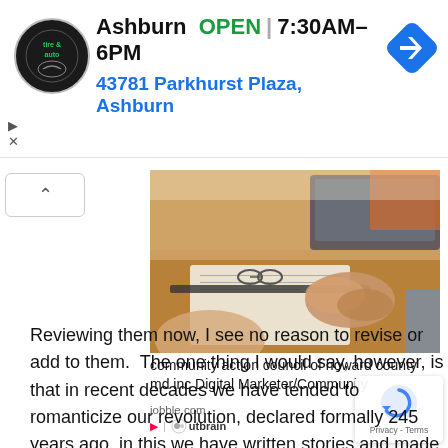[Figure (screenshot): Ad banner for a tire and auto shop. Shows circular logo, 'Ashburn OPEN 7:30AM–6PM' and address '43781 Parkhurst Plaza, Ashburn' in blue, with a navigation arrow icon.]
[Figure (photo): People sitting at a meeting table with laptops, papers, and glasses. Hands clasped on documents.]
community action council of howard county md inc Digital Marketer/Community
jobble.com
Outbrain sponsored content logo
Reviewing them now, I see no reason to revise or add to them.  The one thing I would say, however, is that in recent decades we have tended to romanticize our revolution, declared formally 245 years ago, in this we have written stories and made entertainments about it